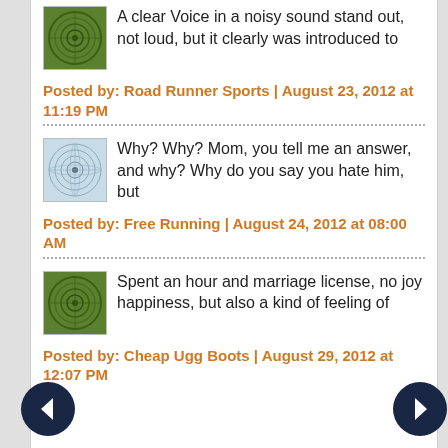A clear voice in a noisy sound stand out, not loud, but it clearly was introduced to
Posted by: Road Runner Sports | August 23, 2012 at 11:19 PM
Why? Why? Mom, you tell me an answer, and why? Why do you say you hate him, but
Posted by: Free Running | August 24, 2012 at 08:00 AM
Spent an hour and marriage license, no joy happiness, but also a kind of feeling of
Posted by: Cheap Ugg Boots | August 29, 2012 at 12:07 PM